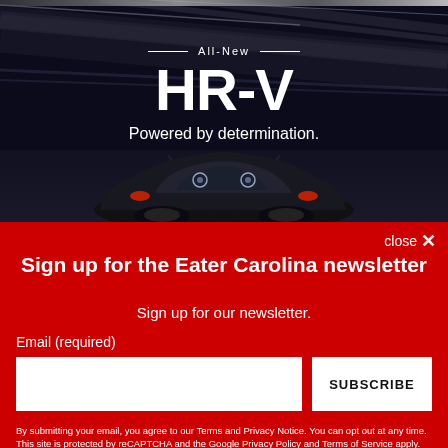[Figure (photo): Honda HR-V advertisement banner on dark background showing 'All-New HR-V – Powered by determination.' with a car silhouette visible at the bottom]
close ×
Sign up for the Eater Carolina newsletter
Sign up for our newsletter.
Email (required)
SUBSCRIBE
By submitting your email, you agree to our Terms and Privacy Notice. You can opt out at any time. This site is protected by reCAPTCHA and the Google Privacy Policy and Terms of Service apply.